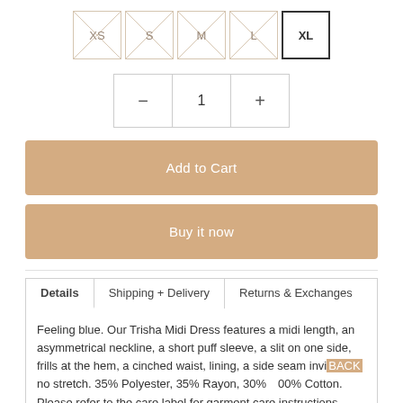Size selector: XS (crossed out), S (crossed out), M (crossed out), L (crossed out), XL (selected)
Quantity: - 1 +
Add to Cart
Buy it now
Details | Shipping + Delivery | Returns & Exchanges
Feeling blue. Our Trisha Midi Dress features a midi length, an asymmetrical neckline, a short puff sleeve, a slit on one side, frills at the hem, a cinched waist, lining, a side seam invi[sible zipper and] no stretch. 35% Polyester, 35% Rayon, 30%[...] 00% Cotton. Please refer to the care label for garment care instructions.